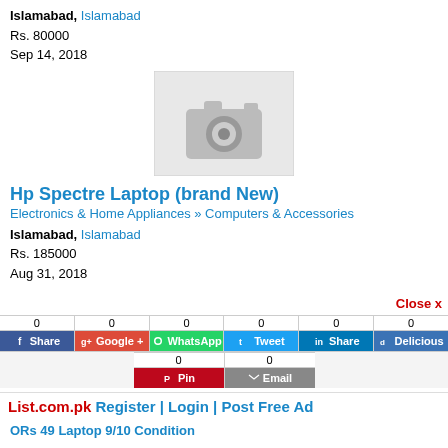Islamabad, Islamabad
Rs. 80000
Sep 14, 2018
[Figure (photo): Placeholder image with camera icon on grey background]
Hp Spectre Laptop (brand New)
Electronics & Home Appliances » Computers & Accessories
Islamabad, Islamabad
Rs. 185000
Aug 31, 2018
Close x
0 Share | 0 Google+ | 0 WhatsApp | 0 Tweet | 0 Share | 0 Delicious | 0 Pin | 0 Email
List.com.pk Register | Login | Post Free Ad